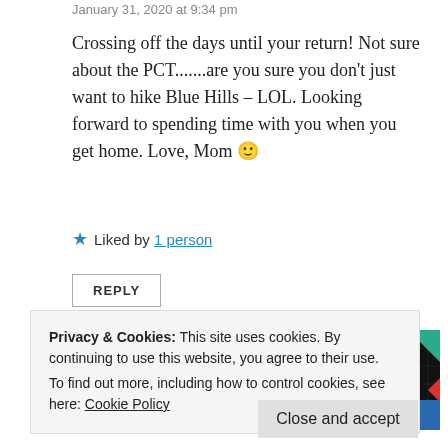January 31, 2020 at 9:34 pm
Crossing off the days until your return! Not sure about the PCT.......are you sure you don't just want to hike Blue Hills – LOL. Looking forward to spending time with you when you get home. Love, Mom 🙂
★ Liked by 1 person
REPLY
[Figure (other): 99% Invisible podcast card advertisement showing a black card with yellow text '99% INVISIBLE' with colorful geometric shapes]
Privacy & Cookies: This site uses cookies. By continuing to use this website, you agree to their use.
To find out more, including how to control cookies, see here: Cookie Policy
Close and accept